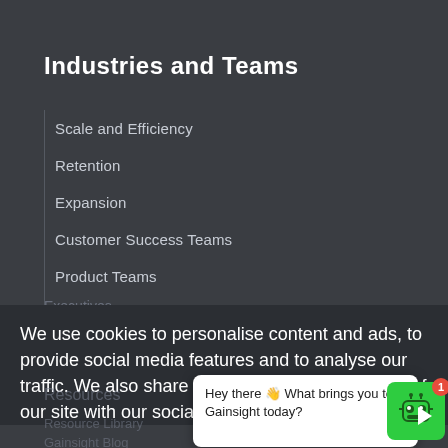Industries and Teams
Scale and Efficiency
Retention
Expansion
Customer Success Teams
Product Teams
Customer Experience Teams
Revenue and Sales Teams
IT and Analytics Teams
Executives
We use cookies to personalise content and ads, to provide social media features and to analyse our traffic. We also share information about your use of our site with our social media, advertising d
Resources
Resource Libra
Gainsight Blo
[Figure (screenshot): Chat popup from Gainsight bot saying 'Hey there 👋 What brings you to Gainsight today?' with a green robot icon and red notification badge showing '1']